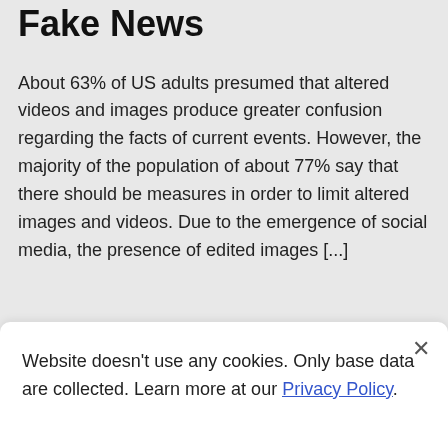Fake News
About 63% of US adults presumed that altered videos and images produce greater confusion regarding the facts of current events. However, the majority of the population of about 77% say that there should be measures in order to limit altered images and videos. Due to the emergence of social media, the presence of edited images [...]
Posted in:  Events  News
Website doesn't use any cookies. Only base data are collected. Learn more at our Privacy Policy.